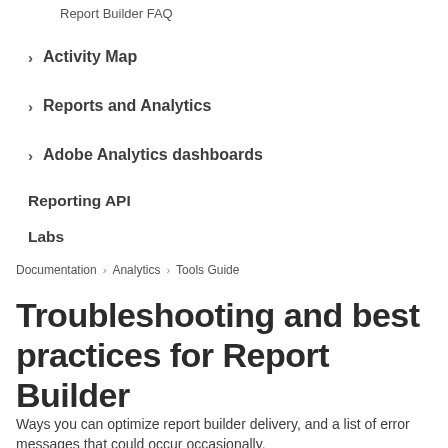Report Builder FAQ
Activity Map
Reports and Analytics
Adobe Analytics dashboards
Reporting API
Labs
Documentation > Analytics > Tools Guide
Troubleshooting and best practices for Report Builder
Ways you can optimize report builder delivery, and a list of error messages that could occur occasionally.